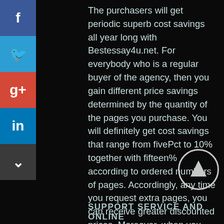[Figure (other): Social media share buttons sidebar: Facebook (blue), Twitter (blue), Google+ (red), LinkedIn (blue), More/down arrow (dark gray)]
The purchasers will get periodic superb cost savings all year long with Bestessay4u.net. For everybody who is a regular buyer of the agency, then you gain different price savings determined by the quantity of the pages you purchase. You will definitely get cost savings that range from fivePct to 10% together with fifteen% according to ordered numbers of pages. Accordingly, any time you request extra pages, you can receive greater discounted prices. Moreover, when you bring a new buyer to Bestessay4u.net, then you can get pleasure from awesome rate reduction programs.
[Figure (other): Circular scroll-to-top button with upward arrow icon]
SUPPORT SERVICE AND ONLINE